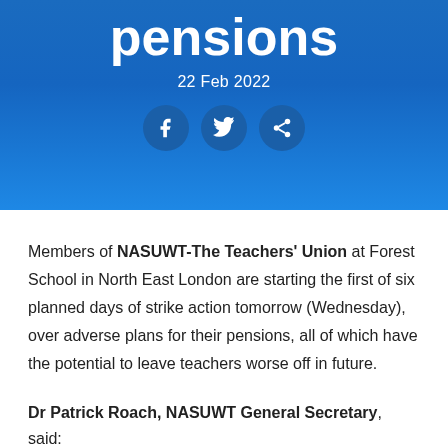pensions
22 Feb 2022
[Figure (other): Social media share icons: Facebook, Twitter, Share]
Members of NASUWT-The Teachers' Union at Forest School in North East London are starting the first of six planned days of strike action tomorrow (Wednesday), over adverse plans for their pensions, all of which have the potential to leave teachers worse off in future.
Dr Patrick Roach, NASUWT General Secretary, said: